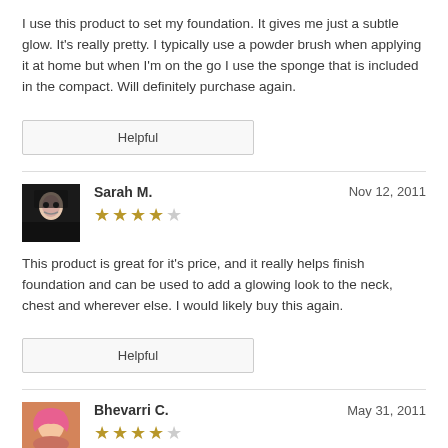I use this product to set my foundation. It gives me just a subtle glow. It's really pretty. I typically use a powder brush when applying it at home but when I'm on the go I use the sponge that is included in the compact. Will definitely purchase again.
Helpful
Sarah M.   Nov 12, 2011   ★★★★☆
This product is great for it's price, and it really helps finish foundation and can be used to add a glowing look to the neck, chest and wherever else. I would likely buy this again.
Helpful
Bhevarri C.   May 31, 2011